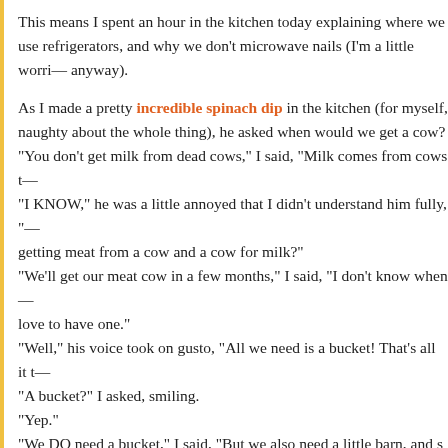This means I spent an hour in the kitchen today explaining where we use refrigerators, and why we don't microwave nails (I'm a little worried anyway).
As I made a pretty incredible spinach dip in the kitchen (for myself, feeling naughty about the whole thing), he asked when would we get a cow? "You don't get milk from dead cows," I said, "Milk comes from cows that— " "I KNOW," he was a little annoyed that I didn't understand him fully, "...getting meat from a cow and a cow for milk?" "We'll get our meat cow in a few months," I said, "I don't know when we'll love to have one." "Well," his voice took on gusto, "All we need is a bucket! That's all it t— " "A bucket?" I asked, smiling. "Yep." "We DO need a bucket," I said, "But we also need a little barn, and s— feed a milk cow yucky hay, you get yucky milk. And then you need a— (I showed him how big with my educated arms), and a filter goes in t— dirt out… and then you need jars to keep the milk in. When you put t— yellow-colored cream rises to the top, and you use it to make butter, — to make the butter and then you can make cheese and yogurt… you— He blinked, he heard the spinach dip was rich—"